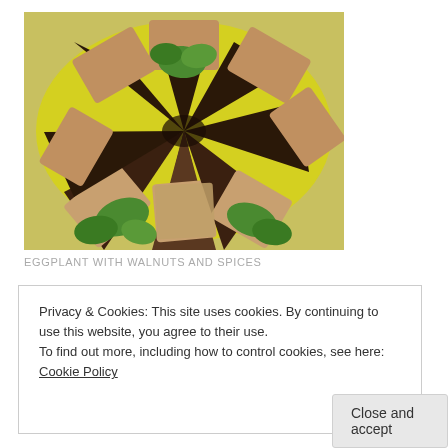[Figure (photo): Photo of eggplant slices topped with walnut mixture arranged in a fan/flower pattern on a yellow plate, garnished with fresh parsley]
EGGPLANT WITH WALNUTS AND SPICES
Privacy & Cookies: This site uses cookies. By continuing to use this website, you agree to their use.
To find out more, including how to control cookies, see here: Cookie Policy
Close and accept